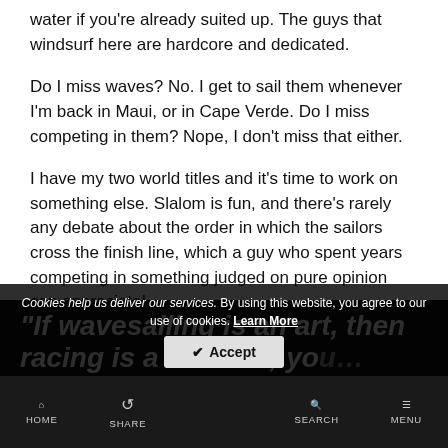water if you’re already suited up. The guys that windsurf here are hardcore and dedicated.
Do I miss waves? No. I get to sail them whenever I’m back in Maui, or in Cape Verde. Do I miss competing in them? Nope, I don’t miss that either.
I have my two world titles and it’s time to work on something else. Slalom is fun, and there’s rarely any debate about the order in which the sailors cross the finish line, which a guy who spent years competing in something judged on pure opinion can appreciate!
“If wavesailing is an art, then racing is a science; yo… don’t have
Cookies help us deliver our services. By using this website, you agree to our use of cookies. Learn More
HOME   SHARE   SEARCH   MENU